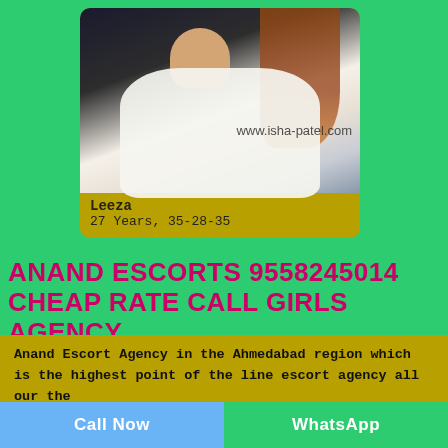[Figure (photo): Photo of a young woman in a white t-shirt with braided hair, watermark 'www.isha-patel.com' visible. Displayed in a gold/olive colored card with name and measurements below.]
Leeza
27 Years, 35-28-35
ANAND ESCORTS 9558245014 CHEAP RATE CALL GIRLS AGENCY
Anand Escort Agency in the Ahmedabad region which is the highest point of the line escort agency all our the
Call Now
WhatsApp